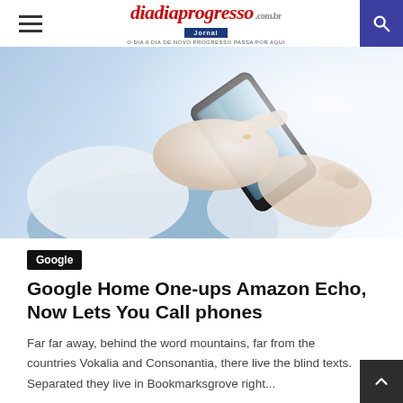diadiaprogresso — O DIA A DIA DE NOVO PROGRESSO PASSA POR AQUI
[Figure (photo): Hands holding and tapping a smartphone, person seated on a light blue surface, bright background]
Google
Google Home One-ups Amazon Echo, Now Lets You Call phones
Far far away, behind the word mountains, far from the countries Vokalia and Consonantia, there live the blind texts. Separated they live in Bookmarksgrove right...